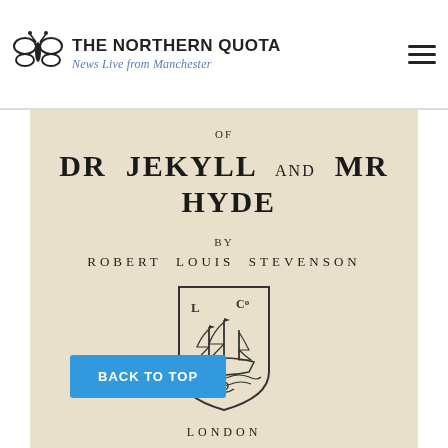THE NORTHERN QUOTA — News Live from Manchester
OF
DR JEKYLL AND MR HYDE
BY
ROBERT LOUIS STEVENSON
[Figure (illustration): Publisher's crest/shield showing a sailing ship with 'L Co' lettering, enclosed in a decorative shield border]
BACK TO TOP
LONDON